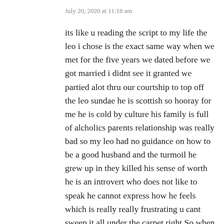July 20, 2020 at 11:18 am
its like u reading the script to my life the leo i chose is the exact same way when we met for the five years we dated before we got married i didnt see it granted we partied alot thru our courtship to top off the leo sundae he is scottish so hooray for me he is cold by culture his family is full of alcholics parents relationship was really bad so my leo had no guidance on how to be a good husband and the turmoil he grew up in they killed his sense of worth he is an introvert who does not like to speak he cannot express how he feels which is really really frustrating u cant sweep it all under the carpet right.So when he proposed he was drunk so i didnt understand what he was saying granted he wasnt on his knee which wouid have clued me in but no was my response should have stuck to that, he gave